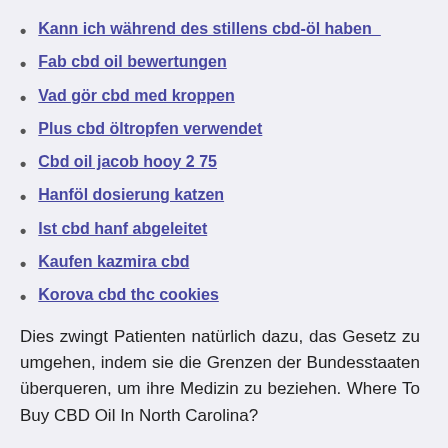Kann ich während des stillens cbd-öl haben_
Fab cbd oil bewertungen
Vad gör cbd med kroppen
Plus cbd öltropfen verwendet
Cbd oil jacob hooy 2 75
Hanföl dosierung katzen
Ist cbd hanf abgeleitet
Kaufen kazmira cbd
Korova cbd thc cookies
Dies zwingt Patienten natürlich dazu, das Gesetz zu umgehen, indem sie die Grenzen der Bundesstaaten überqueren, um ihre Medizin zu beziehen. Where To Buy CBD Oil In North Carolina?